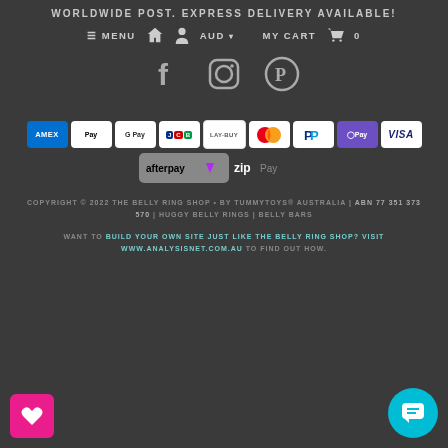WORLDWIDE POST. EXPRESS DELIVERY AVAILABLE!
≡ MENU   🏠  👤  AUD ∨    MY CART 🛍 0
[Figure (illustration): Social media icons: Facebook, Instagram, Pinterest]
[Figure (illustration): Payment method logos: AMEX, Apple Pay, Google Pay, JCB, LAY-BUY, Mastercard, PayPal, OPay, VISA, Afterpay, zipPay]
COPYRIGHT © 2022 THE BELLY RING SHOP • BY TUMMYTOYS® AUSTRALIA | ABN 77 351 373 570 | HUGGY BELLY RINGS | BELLY BARS
WANT TO BUILD YOUR OWN SITE JUST LIKE THE BELLY RING SHOP? VISIT WWW.ANALYSISNET.COM.AU TO FIND OUT HOW.